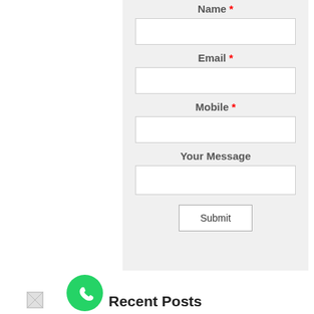Name *
Email *
Mobile *
Your Message
Submit
[Figure (logo): WhatsApp green circular icon with phone handset]
[Figure (photo): Small thumbnail image placeholder]
Recent Posts